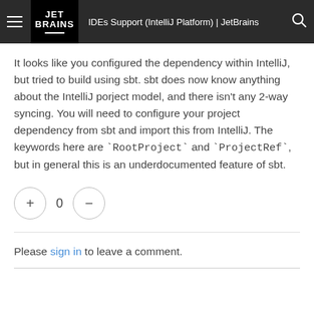IDEs Support (IntelliJ Platform) | JetBrains
It looks like you configured the dependency within IntelliJ, but tried to build using sbt. sbt does now know anything about the IntelliJ porject model, and there isn't any 2-way syncing. You will need to configure your project dependency from sbt and import this from IntelliJ. The keywords here are `RootProject` and `ProjectRef`, but in general this is an underdocumented feature of sbt.
Please sign in to leave a comment.